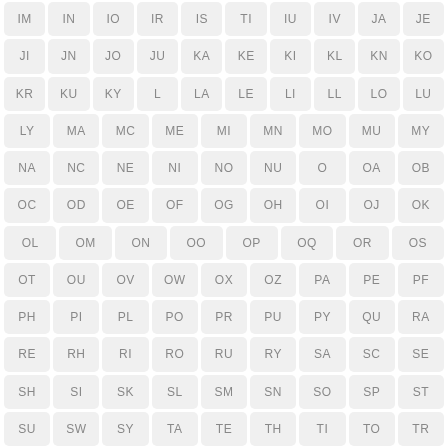[Figure (other): Grid of two-letter abbreviation tags displayed as rounded rectangular badges in light gray. Each badge contains a two-letter code in gray sans-serif text. Rows from top to bottom: IM IN IO IR IS TI IU IV JA JE / JI JN JO JU KA KE KI KL KN KO / KR KU KY L LA LE LI LL LO LU / LY MA MC ME MI MN MO MU MY / NA NC NE NI NO NU O OA OB / OC OD OE OF OG OH OI OJ OK / OL OM ON OO OP OQ OR OS / OT OU OV OW OX OZ PA PE PF / PH PI PL PO PR PU PY QU RA / RE RH RI RO RU RY SA SC SE / SH SI SK SL SM SN SO SP ST / SU SW SY TA TE TH TI TO TR]